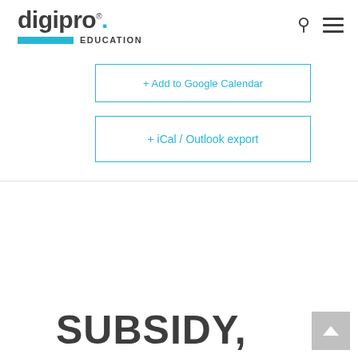digipro. EDUCATION
+ Add to Google Calendar
+ iCal / Outlook export
SUBSIDY,